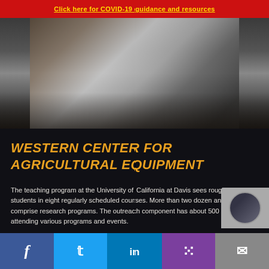Click here for COVID-19 guidance and resources
[Figure (photo): Workshop or classroom scene in an agricultural equipment facility, showing students/attendees seated in rows inside a large industrial building with tractors and farm equipment visible in the background.]
WESTERN CENTER FOR AGRICULTURAL EQUIPMENT
The teaching program at the University of California at Davis sees roughly 300 students in eight regularly scheduled courses. More than two dozen analysts comprise research programs. The outreach component has about 500 people attending various programs and events.
The Joe A. Heidrick Western Center for Agricultural Equipment is a teaching, research, and outreach faci…